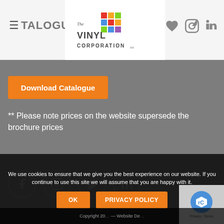CATALOGUE DO — The Vinyl Corporation ltd
[Figure (logo): The Vinyl Corporation logo with colourful grid squares and stylised text]
Download Catalogue
** Please note prices on the website supersede the brochure prices
[Figure (infographic): Social media icons: Facebook, Instagram, Twitter, LinkedIn in circles]
We use cookies to ensure that we give you the best experience on our website. If you continue to use this site we will assume that you are happy with it.
OK  PRIVACY POLICY
Copyright 20… Website De…